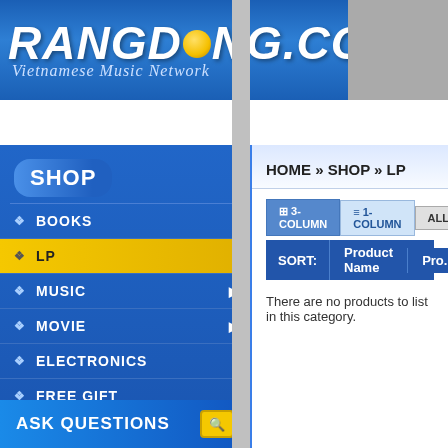[Figure (screenshot): Rangdong.com Vietnamese Music Network website header with blue gradient background and yellow logo text]
NEWS | MUSIC | SHOP | COMMUNITY
SHOP
BOOKS
LP
MUSIC
MOVIE
ELECTRONICS
FREE GIFT
PRODUCTIONS
Please Select
ASK QUESTIONS
HOME » SHOP » LP
3-COLUMN   1-COLUMN   ALL   C...
SORT:   Product Name   Pro...
There are no products to list in this category.